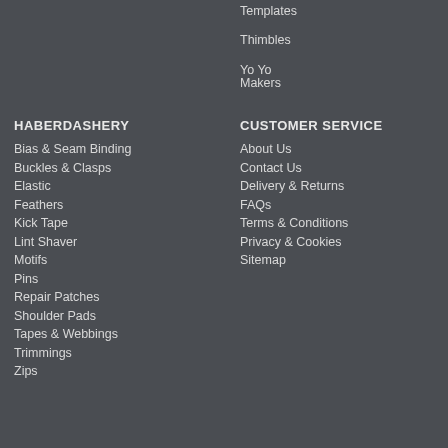Templates
Thimbles
Yo Yo Makers
HABERDASHERY
Bias & Seam Binding
Buckles & Clasps
Elastic
Feathers
Kick Tape
Lint Shaver
Motifs
Pins
Repair Patches
Shoulder Pads
Tapes & Webbings
Trimmings
Zips
CUSTOMER SERVICE
About Us
Contact Us
Delivery & Returns
FAQs
Terms & Conditions
Privacy & Cookies
Sitemap